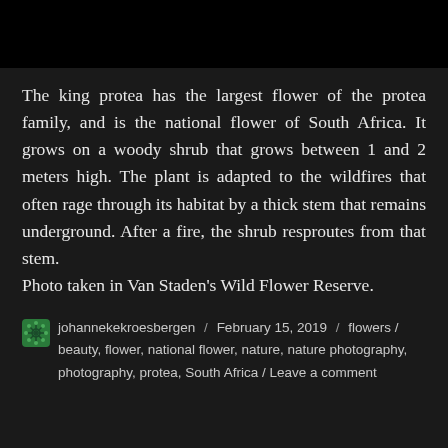[Figure (photo): Black image bar at top of page, cropped photo]
The king protea has the largest flower of the protea family, and is the national flower of South Africa. It grows on a woody shrub that grows between 1 and 2 meters high. The plant is adapted to the wildfires that often rage through its habitat by a thick stem that remains underground. After a fire, the shrub resproutes from that stem.
Photo taken in Van Staden's Wild Flower Reserve.
johannekekroesbergen / February 15, 2019 / flowers / beauty, flower, national flower, nature, nature photography, photography, protea, South Africa / Leave a comment